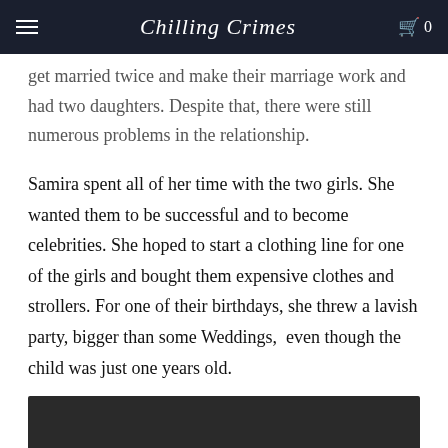Chilling Crimes
get married twice and make their marriage work and had two daughters. Despite that, there were still numerous problems in the relationship.
Samira spent all of her time with the two girls. She wanted them to be successful and to become celebrities. She hoped to start a clothing line for one of the girls and bought them expensive clothes and strollers. For one of their birthdays, she threw a lavish party, bigger than some Weddings,  even though the child was just one years old.
[Figure (photo): Dark image partially visible at the bottom of the page]